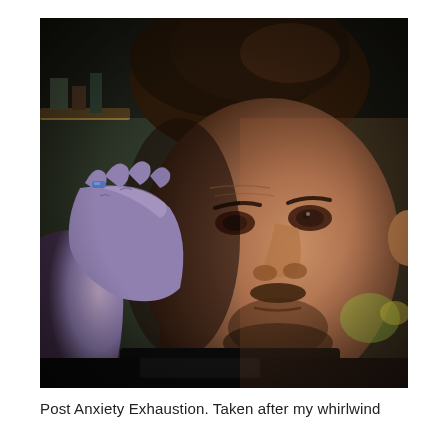[Figure (photo): A man with dark hair holding his hand against the side of his face with a tired, stressed expression. He is wearing a black t-shirt. Background shows a dark room with a shelf visible in the upper left corner.]
Post Anxiety Exhaustion. Taken after my whirlwind